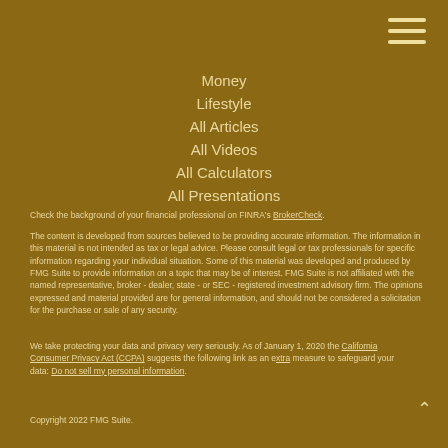[Figure (other): Hamburger menu icon (three horizontal lines) in top-right corner]
Money
Lifestyle
All Articles
All Videos
All Calculators
All Presentations
Check the background of your financial professional on FINRA's BrokerCheck.
The content is developed from sources believed to be providing accurate information. The information in this material is not intended as tax or legal advice. Please consult legal or tax professionals for specific information regarding your individual situation. Some of this material was developed and produced by FMG Suite to provide information on a topic that may be of interest. FMG Suite is not affiliated with the named representative, broker - dealer, state - or SEC - registered investment advisory firm. The opinions expressed and material provided are for general information, and should not be considered a solicitation for the purchase or sale of any security.
We take protecting your data and privacy very seriously. As of January 1, 2020 the California Consumer Privacy Act (CCPA) suggests the following link as an extra measure to safeguard your data: Do not sell my personal information.
Copyright 2022 FMG Suite.